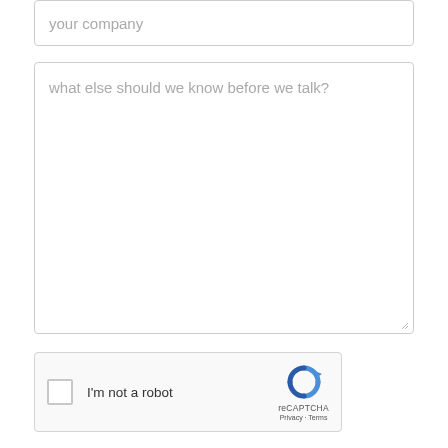your company
what else should we know before we talk?
[Figure (other): reCAPTCHA widget with checkbox labeled 'I'm not a robot', reCAPTCHA logo, Privacy and Terms links]